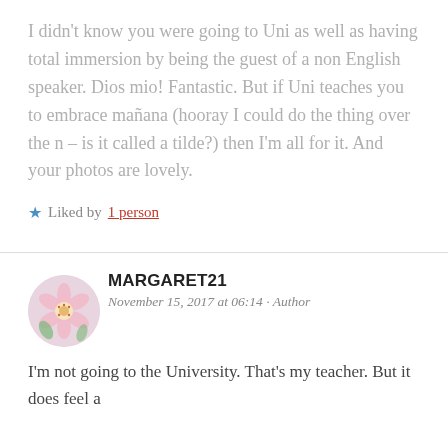I didn't know you were going to Uni as well as having total immersion by being the guest of a non English speaker. Dios mio! Fantastic. But if Uni teaches you to embrace mañana (hooray I could do the thing over the n – is it called a tilde?) then I'm all for it. And your photos are lovely.
★ Liked by 1 person
MARGARET21
November 15, 2017 at 06:14 · Author
I'm not going to the University. That's my teacher. But it does feel a